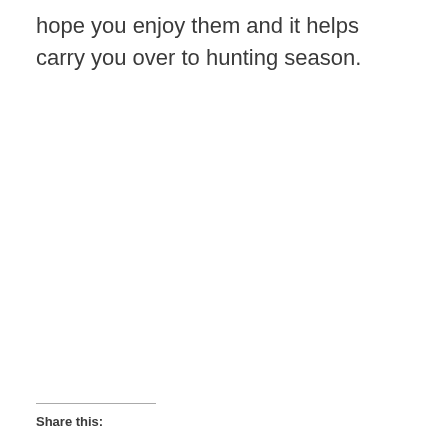hope you enjoy them and it helps carry you over to hunting season.
Share this: